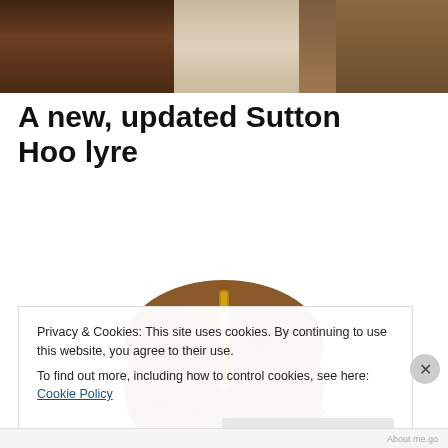[Figure (photo): Header banner image composed of horizontal wooden and textured material strips in shades of brown, cream, and tan]
A new, updated Sutton Hoo lyre
[Figure (photo): Close-up photograph of a rounded brown artifact (top of Sutton Hoo lyre) with gold fittings along the center ridge and textured surface with patina]
Privacy & Cookies: This site uses cookies. By continuing to use this website, you agree to their use.
To find out more, including how to control cookies, see here: Cookie Policy
Close and accept